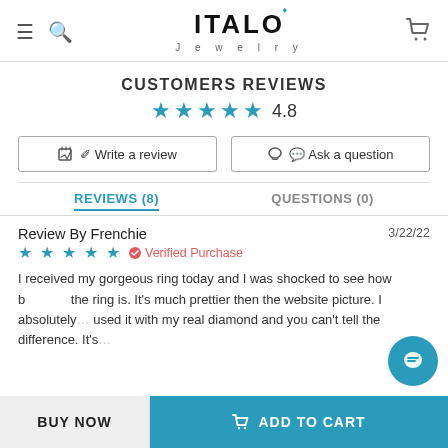[Figure (logo): Italo Jewelry logo with hamburger menu, search icon, and cart icon in header]
CUSTOMERS REVIEWS
★★★★★ 4.8
✎ Write a review   ✉ Ask a question
REVIEWS (8)   QUESTIONS (0)
Review By Frenchie
3/22/22
★★★★★  ✔ Verified Purchase
I received my gorgeous ring today and I was shocked to see how beautiful the ring is. It's much prettier then the website picture. I absolutely used it with my real diamond and you can't tell the difference. It's
BUY NOW   ADD TO CART